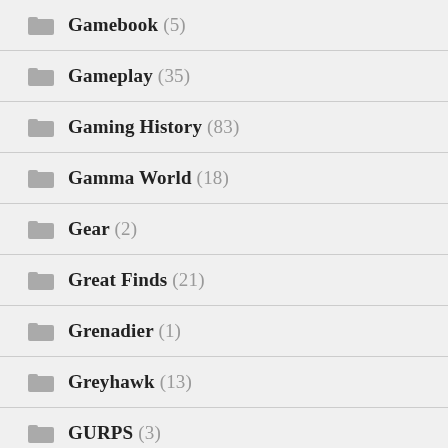Gamebook (5)
Gameplay (35)
Gaming History (83)
Gamma World (18)
Gear (2)
Great Finds (21)
Grenadier (1)
Greyhawk (13)
GURPS (3)
Historical Roleplaying (10)